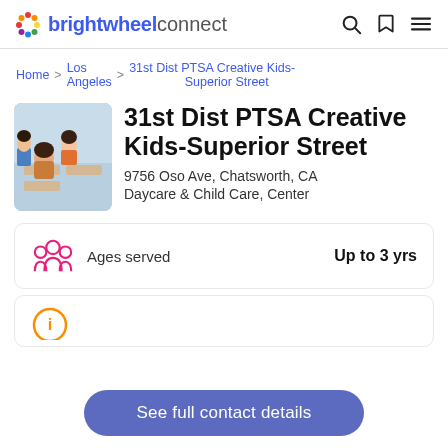brightwheel connect
Home > Los Angeles > 31st Dist PTSA Creative Kids-Superior Street
31st Dist PTSA Creative Kids-Superior Street
9756 Oso Ave, Chatsworth, CA
Daycare & Child Care, Center
Ages served — Up to 3 yrs
See full contact details